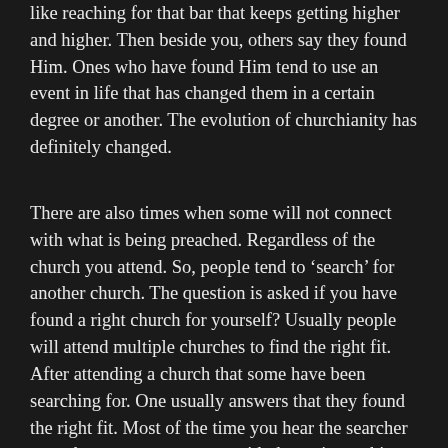like reaching for that bar that keeps getting higher and higher. Then beside you, others say they found Him. Ones who have found Him tend to use an event in life that has changed them in a certain degree or another. The evolution of churchianity has definitely changed.
There are also times when some will not connect with what is being preached. Regardless of the church you attend. So, people tend to ‘search’ for another church. The question is asked if you have found a right church for yourself? Usually people will attend multiple churches to find the right fit. After attending a church that some have been searching for. One usually answers that they found the right fit. Most of the time you hear the searcher state they can now connect with the main teaching. I wonder how they connect with a message or sermon? Is it because one enjoys the emotion? The accuracy of the teaching? Have you ever heard someone state they enjoyed it because the message or sermon was